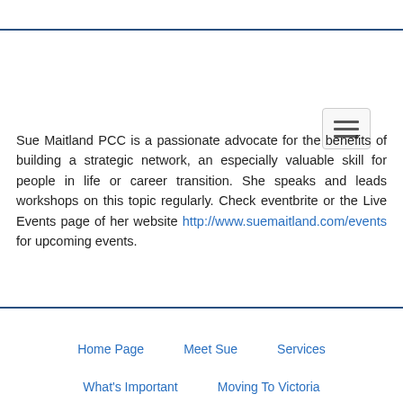Sue Maitland PCC is a passionate advocate for the benefits of building a strategic network, an especially valuable skill for people in life or career transition. She speaks and leads workshops on this topic regularly. Check eventbrite or the Live Events page of her website http://www.suemaitland.com/events for upcoming events.
Home Page   Meet Sue   Services   What's Important   Moving To Victoria